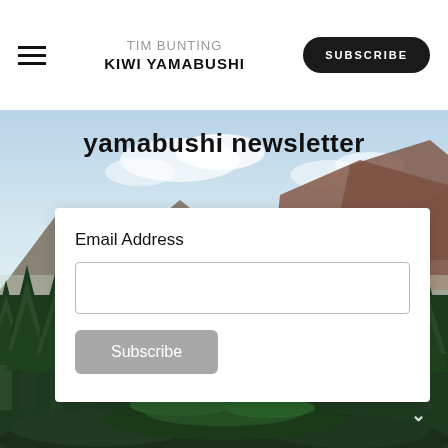TIM BUNTING KIWI YAMABUSHI | SUBSCRIBE
yamabushi newsletter
[Figure (photo): Landscape photo of Japanese mountains with evergreen cedar trees in the foreground and misty mountain ranges in the background under a partly cloudy sky.]
Email Address
Subscribe